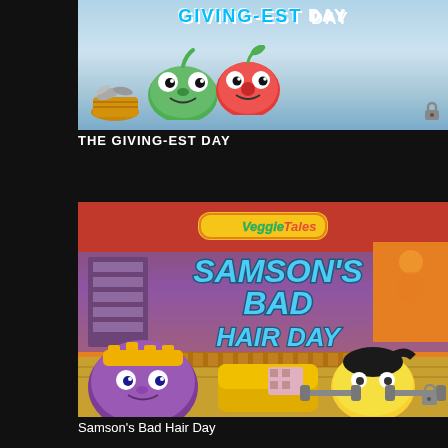[Figure (screenshot): VeggieTales 'The Giving-est Day' movie thumbnail showing animated green and red vegetable characters with a basket, sky background, with a lock icon]
THE GIVING-EST DAY
[Figure (screenshot): VeggieTales 'Samson's Bad Hair Day' movie thumbnail showing VeggieTales logo, title text in blue, purple grape character with gold crown on left, yellow vegetable characters lifting dumbbells on right, ancient temple background, lock icon]
Samson's Bad Hair Day